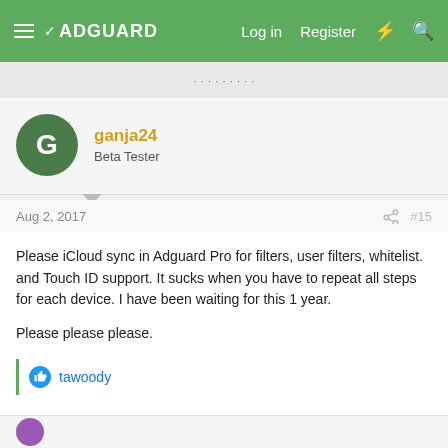ADGUARD — Log in  Register
ganja24
Beta Tester
Aug 2, 2017  #15
Please iCloud sync in Adguard Pro for filters, user filters, whitelist. and Touch ID support. It sucks when you have to repeat all steps for each device. I have been waiting for this 1 year.

Please please please.
tawoody